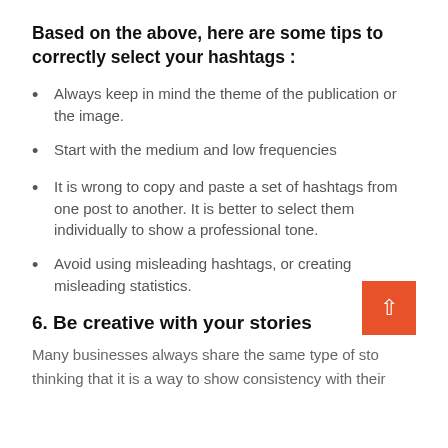Based on the above, here are some tips to correctly select your hashtags :
Always keep in mind the theme of the publication or the image.
Start with the medium and low frequencies
It is wrong to copy and paste a set of hashtags from one post to another. It is better to select them individually to show a professional tone.
Avoid using misleading hashtags, or creating misleading statistics.
6. Be creative with your stories
Many businesses always share the same type of sto thinking that it is a way to show consistency with their